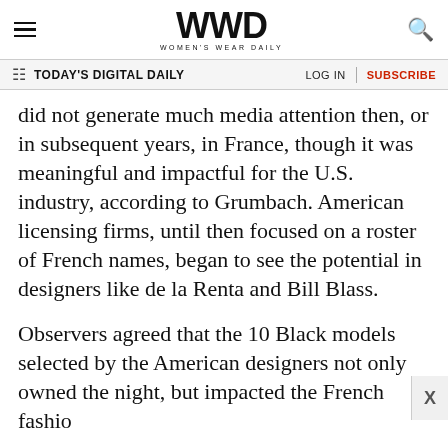WWD — Women's Wear Daily
TODAY'S DIGITAL DAILY | LOG IN | SUBSCRIBE
did not generate much media attention then, or in subsequent years, in France, though it was meaningful and impactful for the U.S. industry, according to Grumbach. American licensing firms, until then focused on a roster of French names, began to see the potential in designers like de la Renta and Bill Blass.
Observers agreed that the 10 Black models selected by the American designers not only owned the night, but impacted the French fashio[n] establishment.